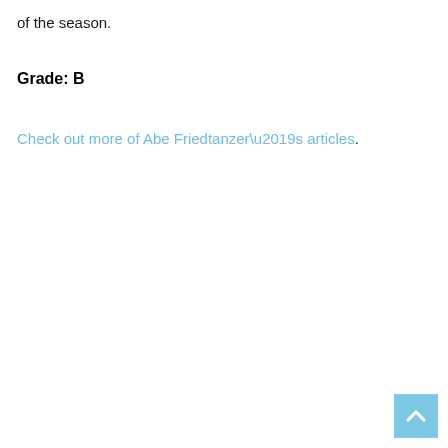of the season.
Grade: B
Check out more of Abe Friedtanzer’s articles.